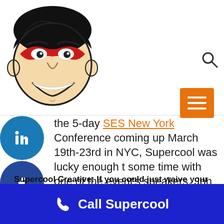[Figure (illustration): Supercool Creative logo: retro stylized man's face with red domino mask, black hair, smiling, black and white line art with color mask]
[Figure (other): Search icon (magnifying glass) and orange hamburger menu button in header]
the 5-day SES New York Conference coming up March 19th-23rd in NYC, Supercool was lucky enough t some time with one of the event's speakers, Jon en, Director of Display Initiative, with Yahoo!. Jon es his thoughts on what would be the coolest mic ad in the history of the planet, the creative value an ad vs the marketing message, and which industries d be taking better advantage of Yahoo! Smart Ads.
Supercool Creative: If you could just waive your hand and instantly
[Figure (other): Call Supercool blue bar with phone icon and bold white text]